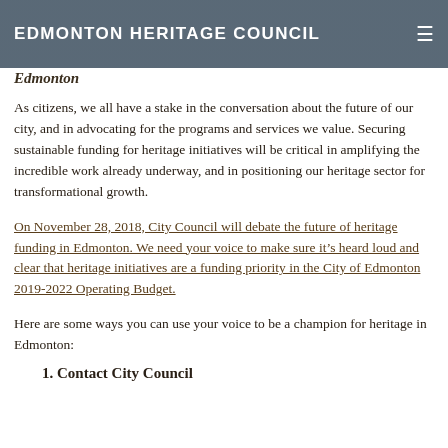EDMONTON HERITAGE COUNCIL
Edmonton
As citizens, we all have a stake in the conversation about the future of our city, and in advocating for the programs and services we value. Securing sustainable funding for heritage initiatives will be critical in amplifying the incredible work already underway, and in positioning our heritage sector for transformational growth.
On November 28, 2018, City Council will debate the future of heritage funding in Edmonton. We need your voice to make sure it’s heard loud and clear that heritage initiatives are a funding priority in the City of Edmonton 2019-2022 Operating Budget.
Here are some ways you can use your voice to be a champion for heritage in Edmonton:
1. Contact City Council